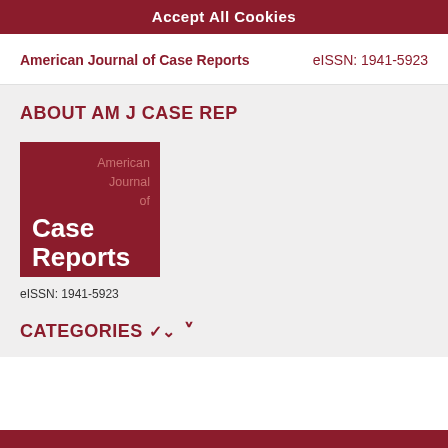Accept All Cookies
American Journal of Case Reports
eISSN: 1941-5923
ABOUT AM J CASE REP
[Figure (logo): American Journal of Case Reports journal logo — dark red square with 'American Journal of' in muted pink text and 'Case Reports' in bold white text.]
eISSN: 1941-5923
CATEGORIES